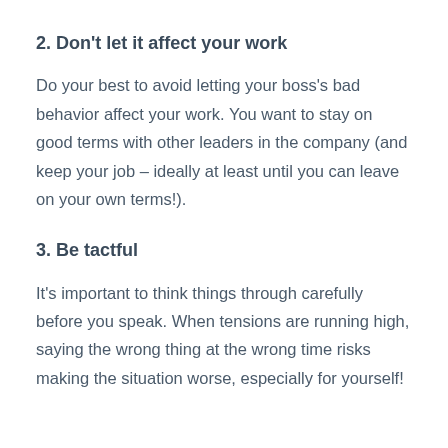2. Don't let it affect your work
Do your best to avoid letting your boss's bad behavior affect your work. You want to stay on good terms with other leaders in the company (and keep your job – ideally at least until you can leave on your own terms!).
3. Be tactful
It's important to think things through carefully before you speak. When tensions are running high, saying the wrong thing at the wrong time risks making the situation worse, especially for yourself!